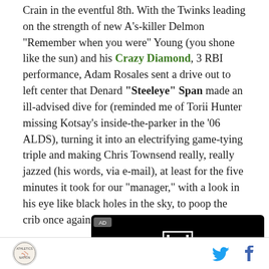Crain in the eventful 8th. With the Twinks leading on the strength of new A's-killer Delmon "Remember when you were" Young (you shone like the sun) and his Crazy Diamond, 3 RBI performance, Adam Rosales sent a drive out to left center that Denard "Steeleye" Span made an ill-advised dive for (reminded me of Torii Hunter missing Kotsay's inside-the-parker in the '06 ALDS), turning it into an electrifying game-tying triple and making Chris Townsend really, really jazzed (his words, via e-mail), at least for the five minutes it took for our "manager," with a look in his eye like black holes in the sky, to poop the crib once again.
[Figure (other): Advertisement box with Honda logo on black background, labeled AD]
Site logo | Twitter icon | Facebook icon